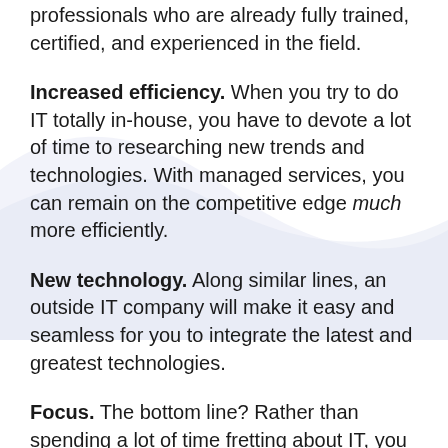professionals who are already fully trained, certified, and experienced in the field.
Increased efficiency. When you try to do IT totally in-house, you have to devote a lot of time to researching new trends and technologies. With managed services, you can remain on the competitive edge much more efficiently.
New technology. Along similar lines, an outside IT company will make it easy and seamless for you to integrate the latest and greatest technologies.
Focus. The bottom line? Rather than spending a lot of time fretting about IT, you can simply entrust it to the professionals—freeing more